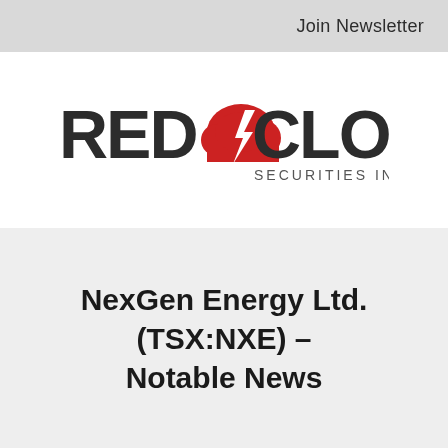Join Newsletter
[Figure (logo): RedCloud Securities Inc. logo — text 'RED' then a red cloud icon with a lightning bolt, then 'CLOUD' in dark gray, with 'SECURITIES INC.' below in smaller dark gray text]
NexGen Energy Ltd. (TSX:NXE) – Notable News